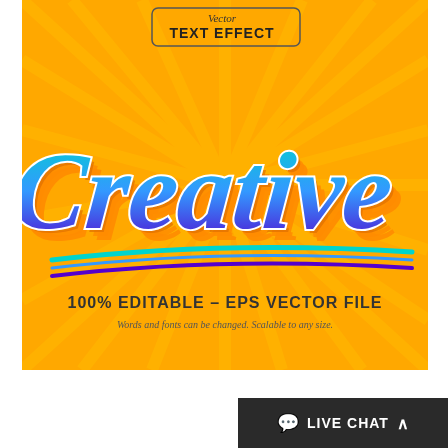[Figure (illustration): Vector text effect graphic showing the word 'Creative' in a stylized gradient script font (teal to blue) with 3D layered shadow effect on an orange sunburst background. At the top, a label reads 'Vector TEXT EFFECT' in a rounded rectangle. Below the main text, a decorative underline swoosh. At the bottom of the image: '100% EDITABLE - EPS VECTOR FILE' in bold dark text, and underneath in italic script: 'Words and fonts can be changed. Scalable to any size.']
LIVE CHAT